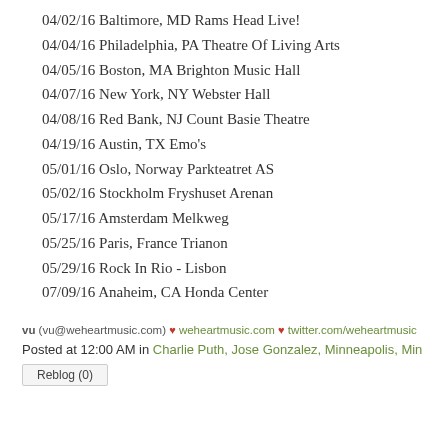04/02/16 Baltimore, MD Rams Head Live!
04/04/16 Philadelphia, PA Theatre Of Living Arts
04/05/16 Boston, MA Brighton Music Hall
04/07/16 New York, NY Webster Hall
04/08/16 Red Bank, NJ Count Basie Theatre
04/19/16 Austin, TX Emo's
05/01/16 Oslo, Norway Parkteatret AS
05/02/16 Stockholm Fryshuset Arenan
05/17/16 Amsterdam Melkweg
05/25/16 Paris, France Trianon
05/29/16 Rock In Rio - Lisbon
07/09/16 Anaheim, CA Honda Center
vu (vu@weheartmusic.com) ♥ weheartmusic.com ♥ twitter.com/weheartmusic
Posted at 12:00 AM in Charlie Puth, Jose Gonzalez, Minneapolis, Min...
Reblog (0)